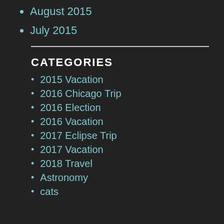August 2015
July 2015
CATEGORIES
2015 Vacation
2016 Chicago Trip
2016 Election
2016 Vacation
2017 Eclipse Trip
2017 Vacation
2018 Travel
Astronomy
cats